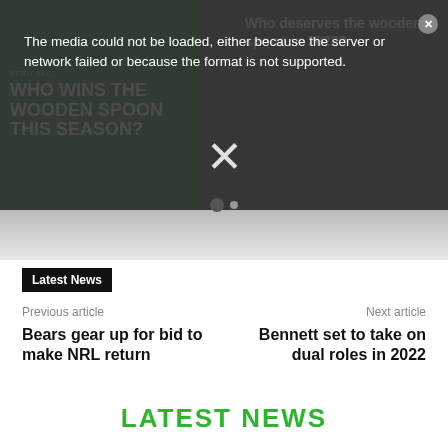[Figure (screenshot): Green sports banner with text WHO WINS THE WOODEN SPOON THIS SEASON? with a sports player image]
Who deserves the wooden spoon in 2022?
The media could not be loaded, either because the server or network failed or because the format is not supported.
Latest News
Previous article
Next article
Bears gear up for bid to make NRL return
Bennett set to take on dual roles in 2022
LATEST NEWS